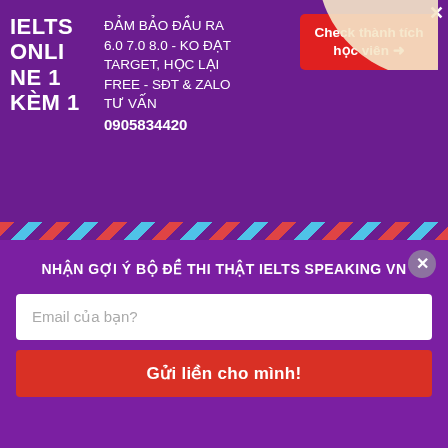[Figure (infographic): Purple advertisement banner for IELTS Online 1-on-1 tutoring with guarantee of 6.0 7.0 8.0 scores, phone number 0905834420, red call-to-action button 'Check thành tích học viên', and close X button.]
động từ
point at
[Figure (infographic): Diagonal striped divider bar in red, purple, and light blue colors.]
NHẬN GỢI Ý BỘ ĐỀ THI THẬT IELTS SPEAKING VN
Email của bạn?
Gửi liền cho mình!